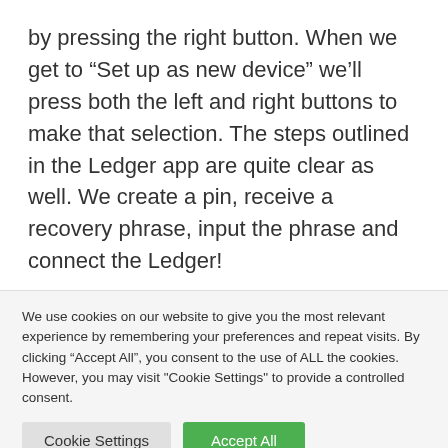by pressing the right button. When we get to “Set up as new device” we’ll press both the left and right buttons to make that selection. The steps outlined in the Ledger app are quite clear as well. We create a pin, receive a recovery phrase, input the phrase and connect the Ledger!
We’ll then be prompted to create a passcode, this can be either 4 or 8 digits in length. Choose wisely,
We use cookies on our website to give you the most relevant experience by remembering your preferences and repeat visits. By clicking “Accept All”, you consent to the use of ALL the cookies. However, you may visit "Cookie Settings" to provide a controlled consent.